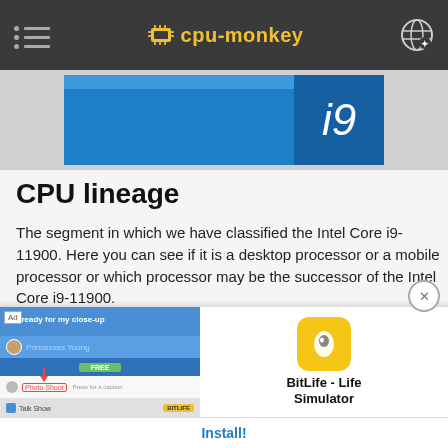cpu-monkey
[Figure (screenshot): Intel Core i9 processor banner image with blue background and i9 text]
CPU lineage
The segment in which we have classified the Intel Core i9-11900. Here you can see if it is a desktop processor or a mobile processor or which processor may be the successor of the Intel Core i9-11900.
[Figure (screenshot): Ad overlay for BitLife - Life Simulator app with Install button]
Name: